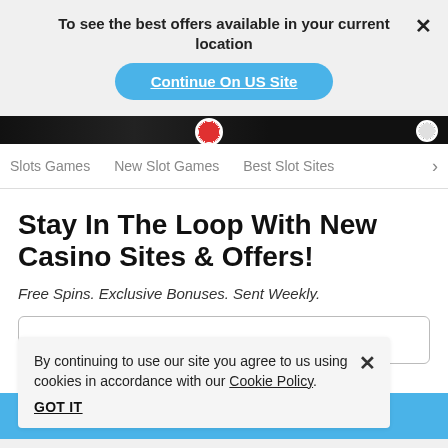To see the best offers available in your current location
Continue On US Site
Slots Games   New Slot Games   Best Slot Sites  >
Stay In The Loop With New Casino Sites & Offers!
Free Spins. Exclusive Bonuses. Sent Weekly.
By continuing to use our site you agree to us using cookies in accordance with our Cookie Policy.
GOT IT
e to receiving
JOIN NOW